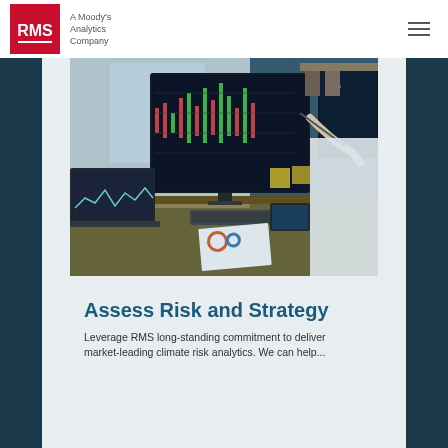RMS — A Moody's Analytics Company
[Figure (photo): Person in white shirt sitting at a desk with multiple monitors displaying financial charts/candlestick graphs, laptop, tablet, and printed charts with pie charts visible on the desk]
Assess Risk and Strategy
Leverage RMS long-standing commitment to deliver market-leading climate risk analytics. We can help...